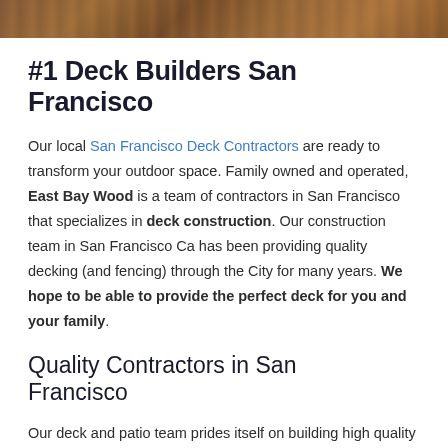[Figure (photo): Partial view of a wooden deck with wood plank texture visible at the top of the page]
#1 Deck Builders San Francisco
Our local San Francisco Deck Contractors are ready to transform your outdoor space. Family owned and operated, East Bay Wood is a team of contractors in San Francisco that specializes in deck construction. Our construction team in San Francisco Ca has been providing quality decking (and fencing) through the City for many years. We hope to be able to provide the perfect deck for you and your family.
Quality Contractors in San Francisco
Our deck and patio team prides itself on building high quality decks that provide useable space for your family and friends to enjoy for years to come. Our construction team wants you to